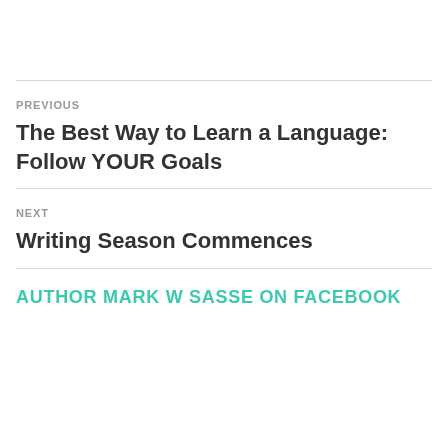PREVIOUS
The Best Way to Learn a Language: Follow YOUR Goals
NEXT
Writing Season Commences
AUTHOR MARK W SASSE ON FACEBOOK